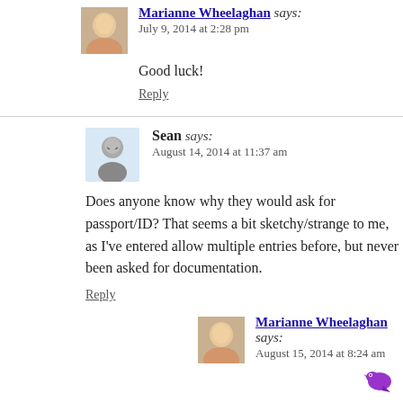Marianne Wheelaghan says: July 9, 2014 at 2:28 pm
Good luck!
Reply
Sean says: August 14, 2014 at 11:37 am
Does anyone know why they would ask for passport/ID? That seems a bit sketchy/strange to me, as I've entered allow multiple entries before, but never been asked for documentation.
Reply
Marianne Wheelaghan says: August 15, 2014 at 8:24 am